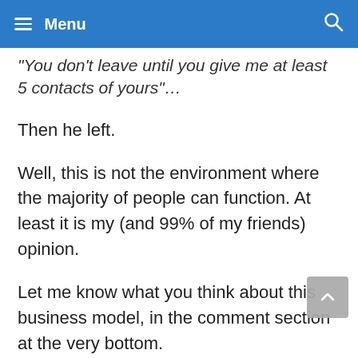Menu
“You don’t leave until you give me at least 5 contacts of yours”…
Then he left.
Well, this is not the environment where the majority of people can function. At least it is my (and 99% of my friends) opinion.
Let me know what you think about this business model, in the comment section at the very bottom.
I am really curious.